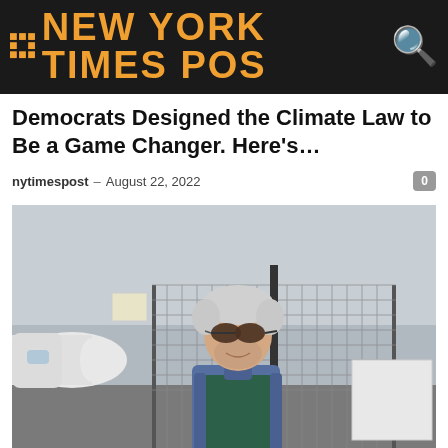NEW YORK TIMES POST
Democrats Designed the Climate Law to Be a Game Changer. Here's…
nytimespost – August 22, 2022
[Figure (photo): An older man with white hair, sunglasses, and a green vest over a blue checkered shirt standing near a chain-link fence at what appears to be an airfield, with a white aircraft in the background.]